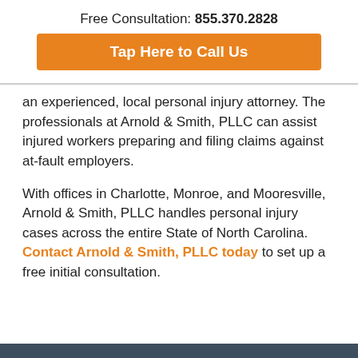Free Consultation: 855.370.2828
[Figure (other): Orange call-to-action button reading 'Tap Here to Call Us']
an experienced, local personal injury attorney. The professionals at Arnold & Smith, PLLC can assist injured workers preparing and filing claims against at-fault employers.
With offices in Charlotte, Monroe, and Mooresville, Arnold & Smith, PLLC handles personal injury cases across the entire State of North Carolina. Contact Arnold & Smith, PLLC today to set up a free initial consultation.